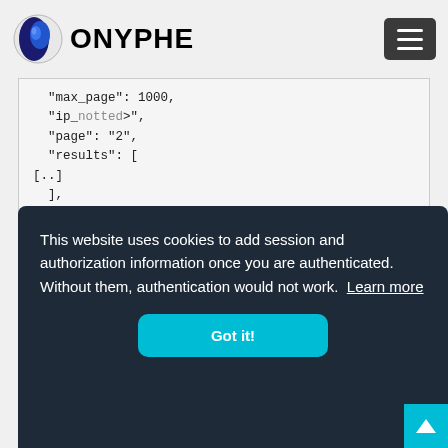[Figure (logo): ONYPHE logo: circular blue and black globe icon with brand name ONYPHE in bold black text]
"max_page": 1000,
  "n  ip_  <not  ted>",
  "page": "2",
  "results": [
[..]
  ],
  "status": "ok",
  "took": "0.027",
This website uses cookies to add session and authorization information once you are authenticated. Without them, authentication would not work.  Learn more
Got it!